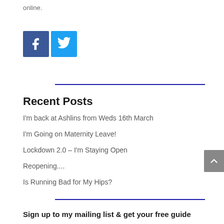online.
[Figure (illustration): Facebook and Twitter social media icon buttons]
Recent Posts
I'm back at Ashlins from Weds 16th March
I'm Going on Maternity Leave!
Lockdown 2.0 – I'm Staying Open
Reopening....
Is Running Bad for My Hips?
Sign up to my mailing list & get your free guide